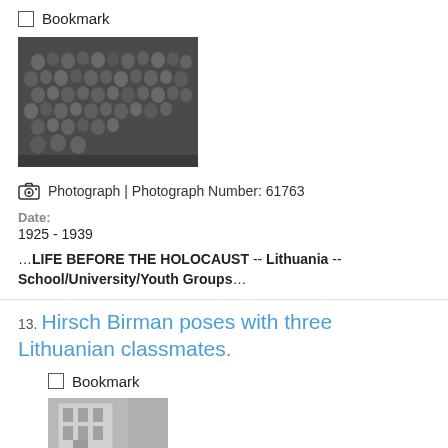Bookmark
[Figure (photo): Black and white group photograph showing a large number of people, likely students, posed together in rows.]
Photograph | Photograph Number: 61763
Date:
1925 - 1939
…LIFE BEFORE THE HOLOCAUST -- Lithuania -- School/University/Youth Groups…
13. Hirsch Birman poses with three Lithuanian classmates.
Bookmark
[Figure (photo): Partial black and white photograph showing a building and what appears to be people at the bottom edge.]